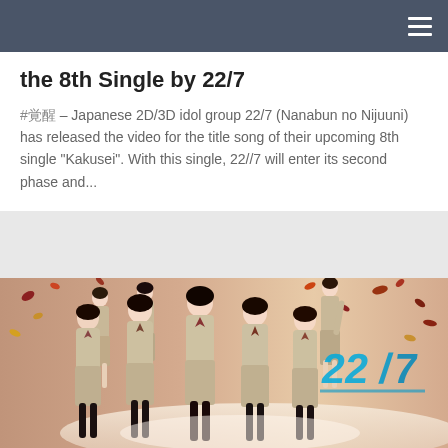Navigation bar with hamburger menu
the 8th Single by 22/7
#覚醒 – Japanese 2D/3D idol group 22/7 (Nanabun no Nijuuni) has released the video for the title song of their upcoming 8th single "Kakusei". With this single, 22//7 will enter its second phase and...
[Figure (photo): Group photo of 22/7 (Nanabun no Nijuuni) idol members dressed in beige/cream school uniforms standing together against a warm beige background with autumn leaves falling. The 22/7 logo appears in the lower right corner in blue.]